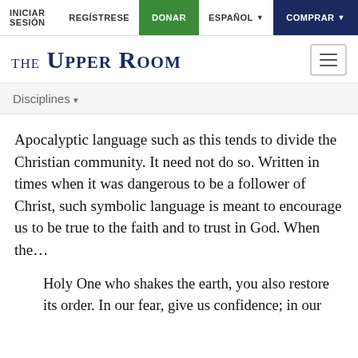INICIAR SESIÓN  REGÍSTRESE  DONAR  ESPAÑOL  COMPRAR
THE UPPER ROOM
Disciplines
Apocalyptic language such as this tends to divide the Christian community. It need not do so. Written in times when it was dangerous to be a follower of Christ, such symbolic language is meant to encourage us to be true to the faith and to trust in God. When the...
Holy One who shakes the earth, you also restore its order. In our fear, give us confidence; in our